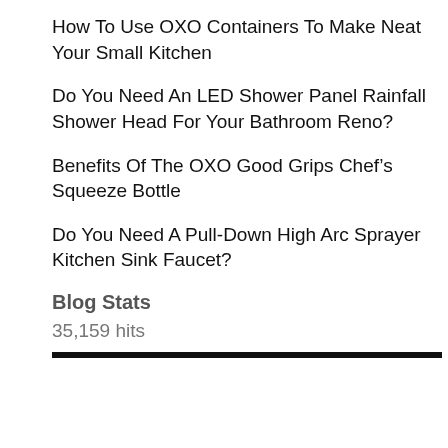How To Use OXO Containers To Make Neat Your Small Kitchen
Do You Need An LED Shower Panel Rainfall Shower Head For Your Bathroom Reno?
Benefits Of The OXO Good Grips Chef's Squeeze Bottle
Do You Need A Pull-Down High Arc Sprayer Kitchen Sink Faucet?
Blog Stats
35,159 hits